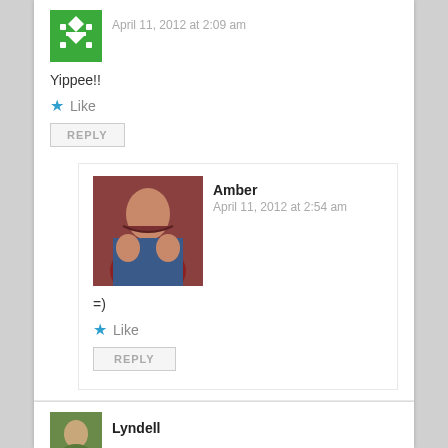April 11, 2012 at 2:09 am
Yippee!!
Like
REPLY
Amber
April 11, 2012 at 2:54 am
=)
Like
REPLY
Lyndell